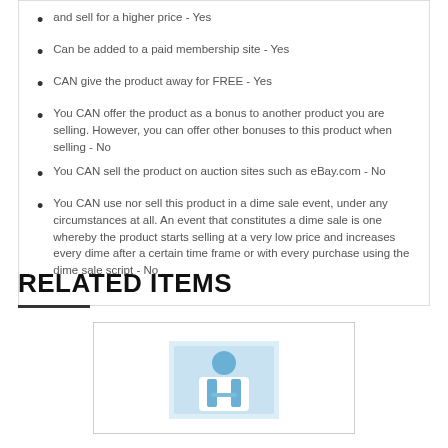and sell for a higher price - Yes
Can be added to a paid membership site - Yes
CAN give the product away for FREE - Yes
You CAN offer the product as a bonus to another product you are selling. However, you can offer other bonuses to this product when selling - No
You CAN sell the product on auction sites such as eBay.com - No
You CAN use nor sell this product in a dime sale event, under any circumstances at all. An event that constitutes a dime sale is one whereby the product starts selling at a very low price and increases every dime after a certain time frame or with every purchase using the dime sale script - No
RELATED ITEMS
[Figure (photo): Product image thumbnail showing a person in a business/coaching context]